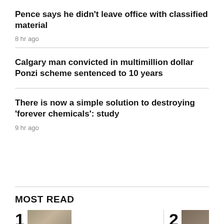Pence says he didn't leave office with classified material
8 hr ago
Calgary man convicted in multimillion dollar Ponzi scheme sentenced to 10 years
There is now a simple solution to destroying 'forever chemicals': study
9 hr ago
MOST READ
[Figure (photo): Most read item 1 thumbnail photo of a person]
[Figure (photo): Most read item 2 thumbnail photo]